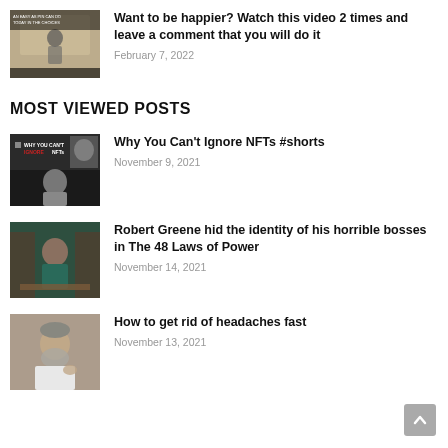[Figure (photo): Thumbnail image of a speaker on stage]
Want to be happier? Watch this video 2 times and leave a comment that you will do it
February 7, 2022
MOST VIEWED POSTS
[Figure (photo): Thumbnail image with text WHY YOU CAN'T IGNORE NFTs and a person below]
Why You Can't Ignore NFTs #shorts
November 9, 2021
[Figure (photo): Thumbnail image of Robert Greene seated at desk]
Robert Greene hid the identity of his horrible bosses in The 48 Laws of Power
November 14, 2021
[Figure (photo): Thumbnail image of older man with beard]
How to get rid of headaches fast
November 13, 2021